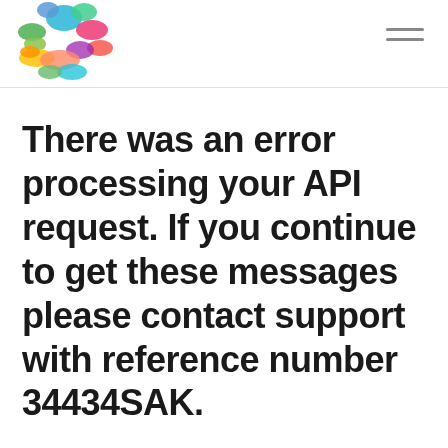[Logo: colorful speech bubbles globe icon] [Hamburger menu icon]
There was an error processing your API request. If you continue to get these messages please contact support with reference number 34434SAK.